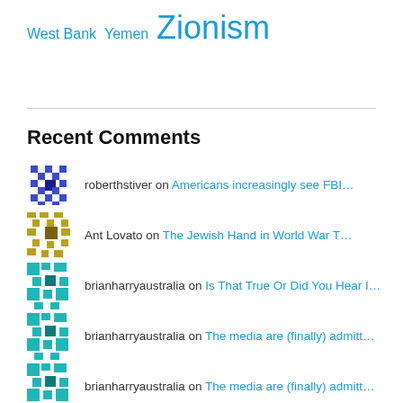West Bank Yemen Zionism
Recent Comments
roberthstiver on Americans increasingly see FBI…
Ant Lovato on The Jewish Hand in World War T…
brianharryaustralia on Is That True Or Did You Hear I…
brianharryaustralia on The media are (finally) admitt…
brianharryaustralia on The media are (finally) admitt…
brianharryaustralia on Americans increasingly see FBI…
brianharryaustralia on Israeli soldiers raid, occupy…
roberthstiver on Israeli soldiers raid, occupy…